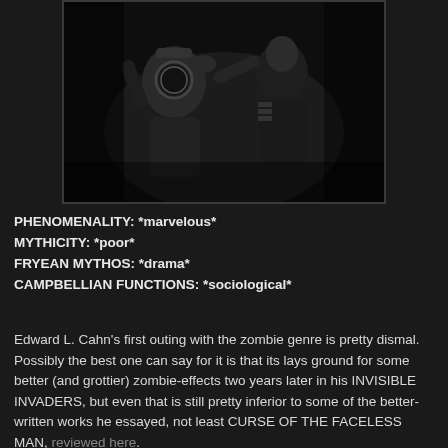[Figure (photo): A dark black-and-white film still showing two figures — one wearing a deep-sea diving helmet being grabbed or confronted by another figure in a military-style uniform.]
PHENOMENALITY: *marvelous*
MYTHICITY: *poor*
FRYEAN MYTHOS: *drama*
CAMPBELLIAN FUNCTIONS: *sociological*
Edward L. Cahn's first outing with the zombie genre is pretty dismal. Possibly the best one can say for it is that its lays ground for some better (and grottier) zombie-effects two years later in his INVISIBLE INVADERS, but even that is still pretty inferior to some of the better-written works he essayed, not least CURSE OF THE FACELESS MAN, reviewed here.